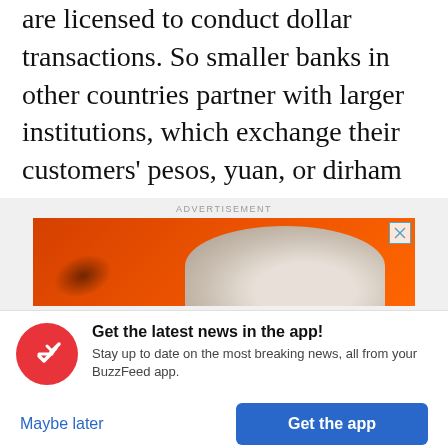are licensed to conduct dollar transactions. So smaller banks in other countries partner with larger institutions, which exchange their customers' pesos, yuan, or dirham for greenbacks. For a fee, the arrangement, known as correspondent banking, helps keep the global economy humming.
[Figure (other): Advertisement banner with orange background showing partial image of a person with white/blonde hair. Contains a close button (X) in top right corner and 'ADVERTISEMENT' label above.]
Get the latest news in the app! Stay up to date on the most breaking news, all from your BuzzFeed app.
Maybe later
Get the app